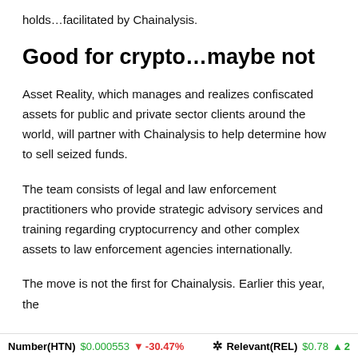holds…facilitated by Chainalysis.
Good for crypto…maybe not
Asset Reality, which manages and realizes confiscated assets for public and private sector clients around the world, will partner with Chainalysis to help determine how to sell seized funds.
The team consists of legal and law enforcement practitioners who provide strategic advisory services and training regarding cryptocurrency and other complex assets to law enforcement agencies internationally.
The move is not the first for Chainalysis. Earlier this year, the
Number(HTN) $0.000553 ↓ -30.47%    Relevant(REL) $0.78 ↑ 2